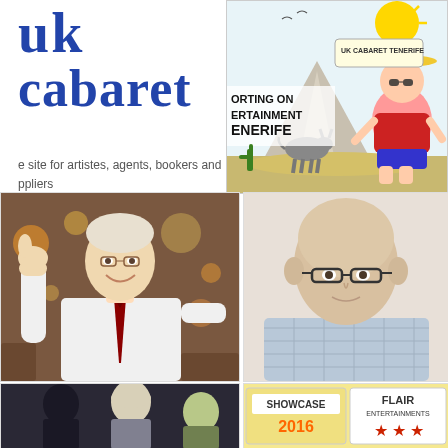uk
cabaret
e site for artistes, agents, bookers and ppliers
[Figure (illustration): Cartoon illustration of a person in a sombrero with sunglasses at a beach/mountain scene, with text reading 'UK Cabaret Tenerife', 'ORTING ON ERTAINMENT ENERIFE']
[Figure (photo): Photo of an older man in a white shirt and tie giving thumbs up, smiling, at an event]
[Figure (photo): Photo of a bald man with glasses, in a light checked shirt, looking at camera]
[Figure (photo): Photo collage showing two people and a puppet/character at bottom left]
[Figure (photo): Showcase 2016 and Flair Entertainments logo/sign at bottom right]